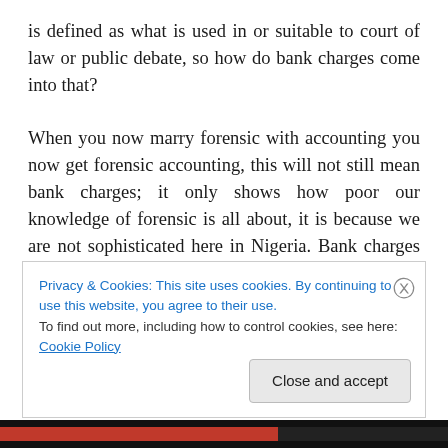is defined as what is used in or suitable to court of law or public debate, so how do bank charges come into that?

When you now marry forensic with accounting you now get forensic accounting, this will not still mean bank charges; it only shows how poor our knowledge of forensic is all about, it is because we are not sophisticated here in Nigeria. Bank charges is only a minute area which forensic covers, not the totality of its operation. Anybody can review excess bank charges but the person must put in mind that the evidences can be used in a court of law and
Privacy & Cookies: This site uses cookies. By continuing to use this website, you agree to their use.
To find out more, including how to control cookies, see here: Cookie Policy
Close and accept